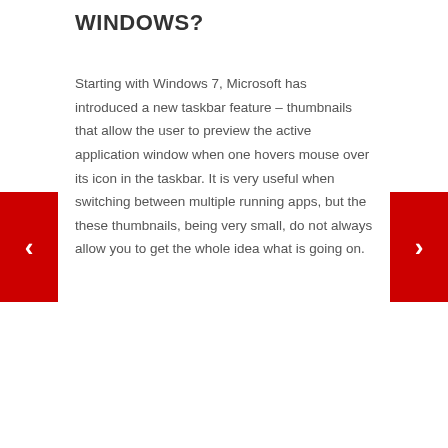WINDOWS?
Starting with Windows 7, Microsoft has introduced a new taskbar feature – thumbnails that allow the user to preview the active application window when one hovers mouse over its icon in the taskbar. It is very useful when switching between multiple running apps, but the these thumbnails, being very small, do not always allow you to get the whole idea what is going on.